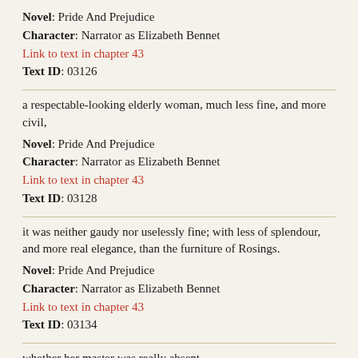Novel: Pride And Prejudice
Character: Narrator as Elizabeth Bennet
Link to text in chapter 43
Text ID: 03126
a respectable-looking elderly woman, much less fine, and more civil,
Novel: Pride And Prejudice
Character: Narrator as Elizabeth Bennet
Link to text in chapter 43
Text ID: 03128
it was neither gaudy nor uselessly fine; with less of splendour, and more real elegance, than the furniture of Rosings.
Novel: Pride And Prejudice
Character: Narrator as Elizabeth Bennet
Link to text in chapter 43
Text ID: 03134
whether her master was really absent,
Novel: Pride And Prejudice